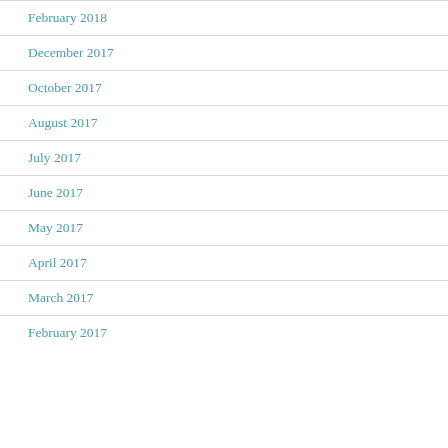February 2018
December 2017
October 2017
August 2017
July 2017
June 2017
May 2017
April 2017
March 2017
February 2017